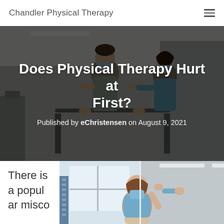Chandler Physical Therapy
[Figure (photo): Physical therapy session: a male patient wearing a mask using parallel walking bars assisted by a female therapist in a clinical gym setting]
Does Physical Therapy Hurt at First?
Published by eChristensen on August 9, 2021
There is a popular misco
[Figure (photo): A female patient in a mask raising her arm, being assisted by a physical therapist in a bright clinical room]